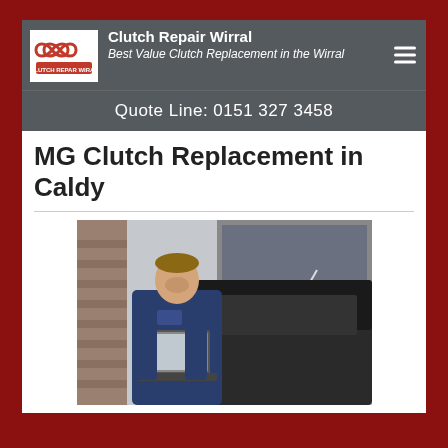Clutch Repair Wirral — Best Value Clutch Replacement in the Wirral
Quote Line: 0151 327 3458
MG Clutch Replacement in Caldy
[Figure (photo): A mechanic in a blue jumpsuit looking at a laptop computer in front of a car with its hood open, inside a garage/workshop.]